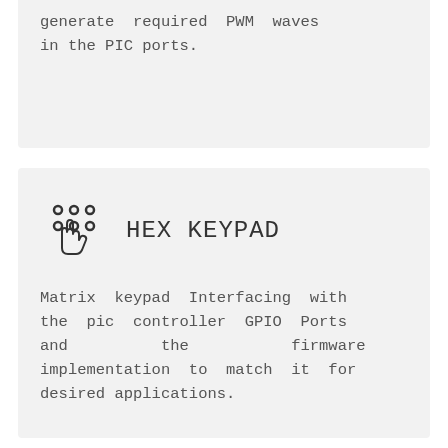generate required PWM waves in the PIC ports.
HEX KEYPAD
Matrix keypad Interfacing with the pic controller GPIO Ports and the firmware implementation to match it for desired applications.